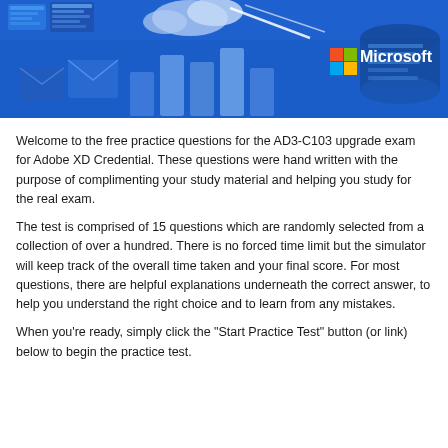[Figure (illustration): Microsoft branded banner image with blue background, abstract data/document icons, cloud imagery, bar chart shapes, and the Microsoft logo (four colored squares) with 'Microsoft' text in white on the right side.]
Welcome to the free practice questions for the AD3-C103 upgrade exam for Adobe XD Credential. These questions were hand written with the purpose of complimenting your study material and helping you study for the real exam.
The test is comprised of 15 questions which are randomly selected from a collection of over a hundred. There is no forced time limit but the simulator will keep track of the overall time taken and your final score. For most questions, there are helpful explanations underneath the correct answer, to help you understand the right choice and to learn from any mistakes.
When you're ready, simply click the "Start Practice Test" button (or link) below to begin the practice test.